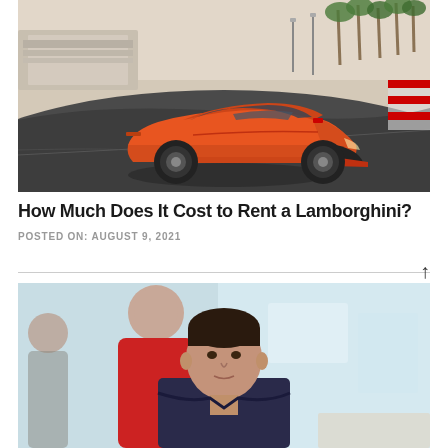[Figure (photo): Orange Lamborghini Huracan sports car driving on a racing track with palm trees and grandstands in the background]
How Much Does It Cost to Rent a Lamborghini?
POSTED ON: AUGUST 9, 2021
[Figure (photo): People in an office setting, a man with short dark hair in foreground and a person in red shirt in background]